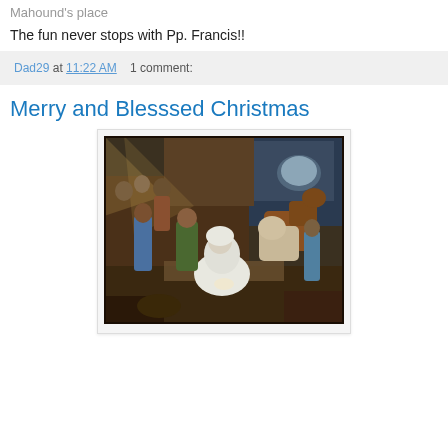Mahound's place
The fun never stops with Pp. Francis!!
Dad29 at 11:22 AM    1 comment:
Merry and Blesssed Christmas
[Figure (illustration): Classic nativity painting showing the Adoration of the Shepherds — Mary in white robes with the infant Jesus lying on straw, surrounded by shepherds, a man in green, cattle, and a moonlit landscape in the background. Dark, warm-toned oil painting style.]